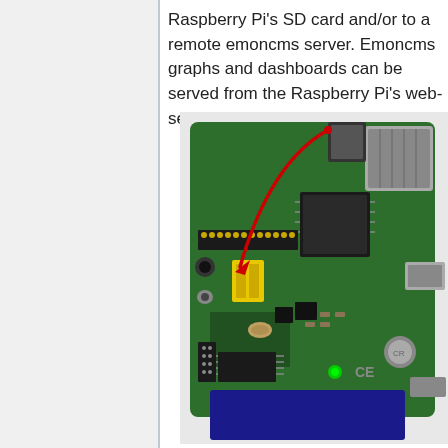Raspberry Pi's SD card and/or to a remote emoncms server. Emoncms graphs and dashboards can be served from the Raspberry Pi's web-server.
[Figure (photo): Photograph of a Raspberry Pi single-board computer with an attached add-on board (EmonPi or similar). A red curved arrow annotates a component connection. The board shows green PCB with USB ports, Ethernet port, yellow connector, HDMI port, microUSB ports, and various chips and components.]